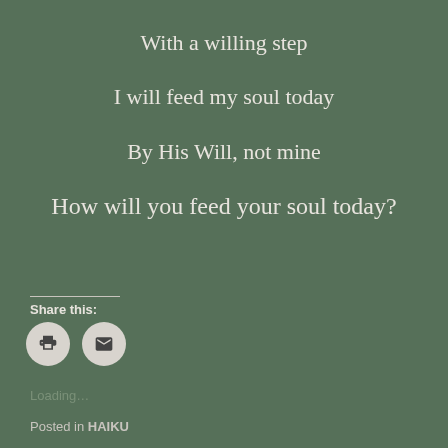With a willing step
I will feed my soul today
By His Will, not mine
How will you feed your soul today?
Share this:
[Figure (illustration): Two circular icon buttons: a print icon and an email/envelope icon]
Loading...
Posted in HAIKU